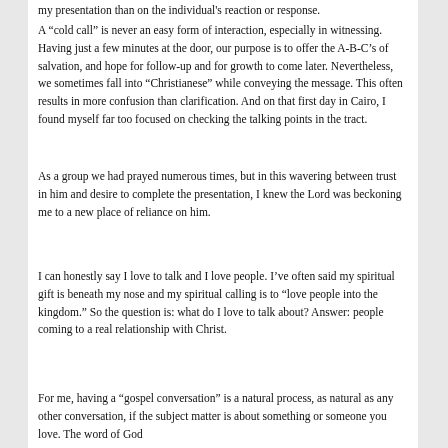my presentation than on the individual's reaction or response.
A “cold call” is never an easy form of interaction, especially in witnessing. Having just a few minutes at the door, our purpose is to offer the A-B-C’s of salvation, and hope for follow-up and for growth to come later. Nevertheless, we sometimes fall into “Christianese” while conveying the message. This often results in more confusion than clarification. And on that first day in Cairo, I found myself far too focused on checking the talking points in the tract.
As a group we had prayed numerous times, but in this wavering between trust in him and desire to complete the presentation, I knew the Lord was beckoning me to a new place of reliance on him.
I can honestly say I love to talk and I love people. I’ve often said my spiritual gift is beneath my nose and my spiritual calling is to “love people into the kingdom.” So the question is: what do I love to talk about? Answer: people coming to a real relationship with Christ.
For me, having a “gospel conversation” is a natural process, as natural as any other conversation, if the subject matter is about something or someone you love. The word of God